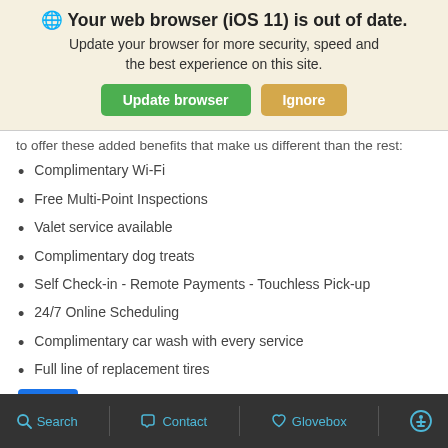[Figure (screenshot): Browser update notification banner with globe icon, bold title 'Your web browser (iOS 11) is out of date.', subtitle text, green 'Update browser' button and tan 'Ignore' button]
to offer these added benefits that make us different than the rest:
Complimentary Wi-Fi
Free Multi-Point Inspections
Valet service available
Complimentary dog treats
Self Check-in - Remote Payments - Touchless Pick-up
24/7 Online Scheduling
Complimentary car wash with every service
Full line of replacement tires
Search  Contact  Glovebox  [accessibility icon]